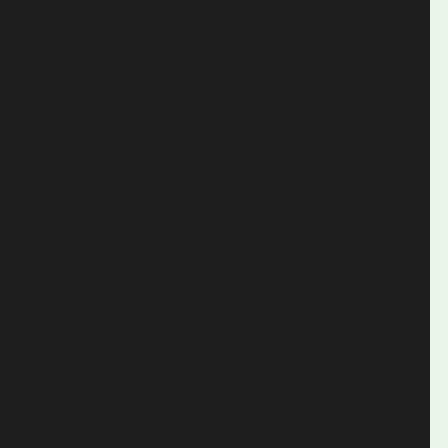| # | Artist | Album |
| --- | --- | --- |
| 15 | Original Soundtrack | Wes... |
| 16 | The Rolling Stones | L... |